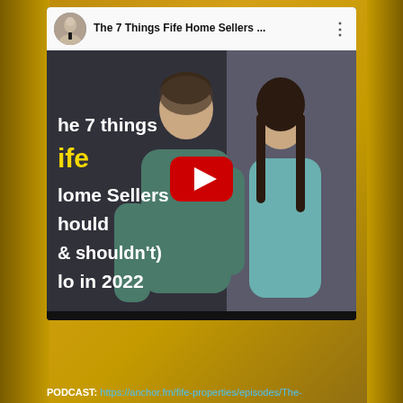[Figure (screenshot): YouTube video card showing title 'The 7 Things Fife Home Sellers ...' with a thumbnail of a smiling couple (man and woman) back to back, overlaid text: 'The 7 things Fife Home Sellers should (& shouldn't) do in 2022', with a red YouTube play button in the center. Gold/dark gradient background surrounds the card.]
PODCAST: https://anchor.fm/fife-properties/episodes/The-